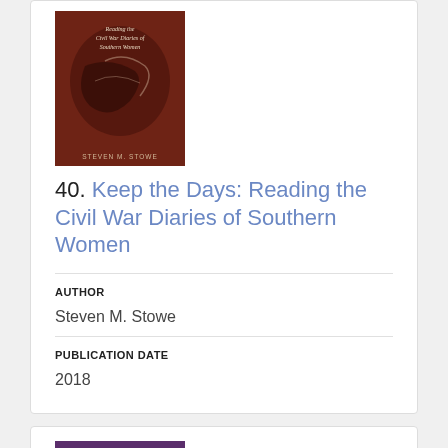[Figure (photo): Book cover of 'Keep the Days: Reading the Civil War Diaries of Southern Women' by Steven M. Stowe — dark reddish-brown cover with handwriting imagery]
40. Keep the Days: Reading the Civil War War Diaries of Southern Women
AUTHOR
Steven M. Stowe
PUBLICATION DATE
2018
[Figure (photo): Book cover of 'Keywords for Gender and Sexuality Studies' — purple cover with white text]